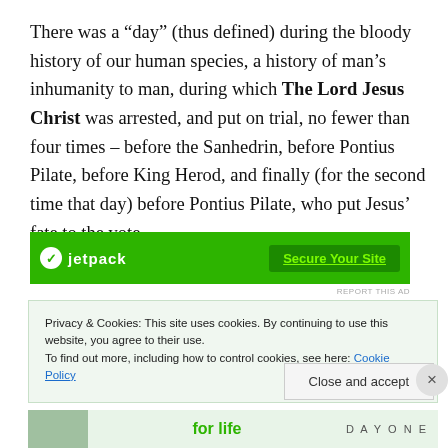There was a “day” (thus defined) during the bloody history of our human species, a history of man’s inhumanity to man, during which The Lord Jesus Christ was arrested, and put on trial, no fewer than four times – before the Sanhedrin, before Pontius Pilate, before King Herod, and finally (for the second time that day) before Pontius Pilate, who put Jesus’ fate to the vote.
[Figure (screenshot): Green Jetpack advertisement banner with logo and 'Secure Your Site' button]
REPORT THIS AD
Privacy & Cookies: This site uses cookies. By continuing to use this website, you agree to their use.
To find out more, including how to control cookies, see here: Cookie Policy
Close and accept
[Figure (screenshot): Bottom advertisement banner with 'for life' text and DAY ONE branding]